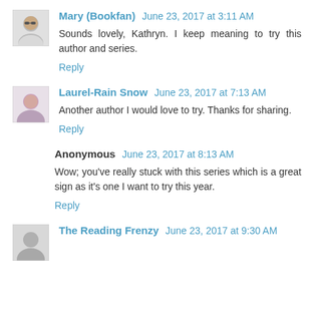Mary (Bookfan) June 23, 2017 at 3:11 AM
Sounds lovely, Kathryn. I keep meaning to try this author and series.
Reply
Laurel-Rain Snow June 23, 2017 at 7:13 AM
Another author I would love to try. Thanks for sharing.
Reply
Anonymous June 23, 2017 at 8:13 AM
Wow; you've really stuck with this series which is a great sign as it's one I want to try this year.
Reply
The Reading Frenzy June 23, 2017 at 9:30 AM